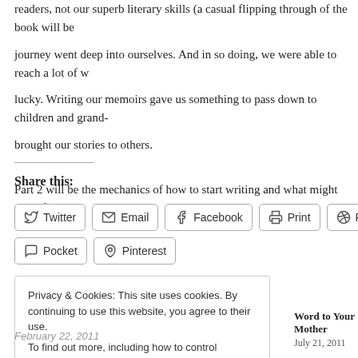readers, not our superb literary skills (a casual flipping through of the book will be a journey went deep into ourselves. And in so doing, we were able to reach a lot of w lucky. Writing our memoirs gave us something to pass down to children and grand- brought our stories to others.
Part 2 will be the mechanics of how to start writing and what might work for you.
Share this:
Twitter  Email  Facebook  Print  Reddit  LinkedIn  Pocket  Pinterest
Privacy & Cookies: This site uses cookies. By continuing to use this website, you agree to their use.
To find out more, including how to control cookies, see here: Cookie Policy
Close and accept
Word to Your Mother
July 21, 2011
February 22, 2011